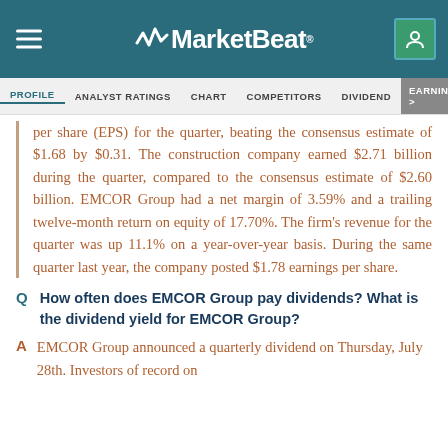MarketBeat
PROFILE | ANALYST RATINGS | CHART | COMPETITORS | DIVIDEND | EARNINGS
per share (EPS) for the quarter, beating the consensus estimate of $1.68 by $0.31. The construction company earned $2.71 billion during the quarter, compared to the consensus estimate of $2.60 billion. EMCOR Group had a net margin of 3.59% and a trailing twelve-month return on equity of 17.70%. The firm's revenue for the quarter was up 11.1% on a year-over-year basis. During the same quarter last year, the company posted $1.78 earnings per share.
How often does EMCOR Group pay dividends? What is the dividend yield for EMCOR Group?
EMCOR Group announced a quarterly dividend on Thursday, July 28th. Investors of record on